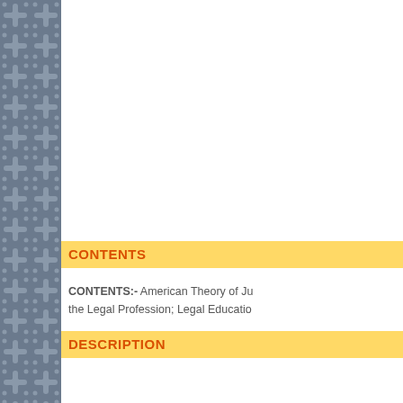[Figure (illustration): Decorative sidebar with repeating geometric cross/flower pattern on dark blue-grey background]
CONTENTS
CONTENTS:- American Theory of Ju the Legal Profession; Legal Educatio
DESCRIPTION